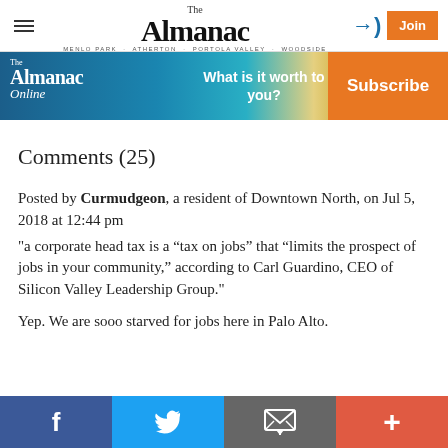The Almanac — MENLO PARK · ATHERTON · PORTOLA VALLEY · WOODSIDE | Join
[Figure (infographic): The Almanac Online advertisement banner with Subscribe button]
Comments (25)
Posted by Curmudgeon, a resident of Downtown North, on Jul 5, 2018 at 12:44 pm
"a corporate head tax is a “tax on jobs” that “limits the prospect of jobs in your community,” according to Carl Guardino, CEO of Silicon Valley Leadership Group."

Yep. We are sooo starved for jobs here in Palo Alto.
Facebook | Twitter | Email | More